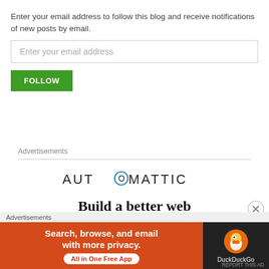Enter your email address to follow this blog and receive notifications of new posts by email.
Enter your email address
FOLLOW
Advertisements
[Figure (logo): Automattic logo with stylized O in a circle]
Build a better web
Advertisements
[Figure (infographic): DuckDuckGo advertisement banner: orange left panel with text 'Search, browse, and email with more privacy. All in One Free App' and dark right panel with DuckDuckGo duck logo]